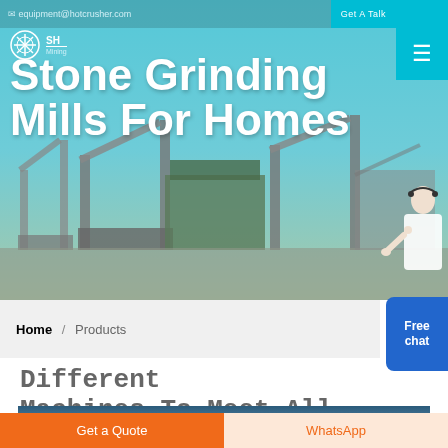equipment@hotcrusher.com   Get A Talk
Stone Grinding Mills For Homes
[Figure (screenshot): Mining equipment / industrial plant banner image with conveyor belts and machinery against a blue sky backdrop, with a customer service representative figure on the right side]
Home / Products
Free chat
Different Machines To Meet All Need
[Figure (photo): Partial view of an industrial facility or warehouse interior]
Get a Quote
WhatsApp